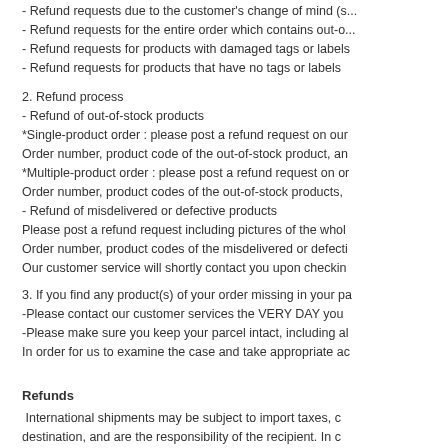- Refund requests due to the customer's change of mind (s...
- Refund requests for the entire order which contains out-o...
- Refund requests for products with damaged tags or labels
- Refund requests for products that have no tags or labels
2. Refund process
- Refund of out-of-stock products
*Single-product order : please post a refund request on our... Order number, product code of the out-of-stock product, an...
*Multiple-product order : please post a refund request on or... Order number, product codes of the out-of-stock products,...
- Refund of misdelivered or defective products
Please post a refund request including pictures of the whol... Order number, product codes of the misdelivered or defecti... Our customer service will shortly contact you upon checkin...
3. If you find any product(s) of your order missing in your pa... -Please contact our customer services the VERY DAY you... -Please make sure you keep your parcel intact, including al... In order for us to examine the case and take appropriate ac...
Refunds
International shipments may be subject to import taxes, c... destination, and are the responsibility of the recipient. In c... and will not be shipped again. According costs(shipping, c...
Product Inquiry